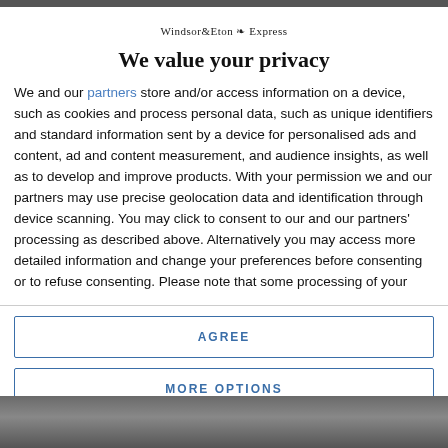Windsor&Eton Express
We value your privacy
We and our partners store and/or access information on a device, such as cookies and process personal data, such as unique identifiers and standard information sent by a device for personalised ads and content, ad and content measurement, and audience insights, as well as to develop and improve products. With your permission we and our partners may use precise geolocation data and identification through device scanning. You may click to consent to our and our partners' processing as described above. Alternatively you may access more detailed information and change your preferences before consenting or to refuse consenting. Please note that some processing of your
AGREE
MORE OPTIONS
[Figure (photo): Bottom portion of a news article photo, partially cropped]